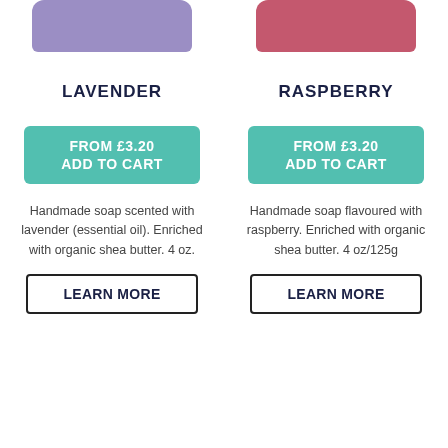[Figure (photo): Lavender soap bar (purple/lilac color) cropped at the top of the page, left column]
[Figure (photo): Raspberry soap bar (rose/dark pink color) cropped at the top of the page, right column]
LAVENDER
RASPBERRY
FROM £3.20
ADD TO CART
FROM £3.20
ADD TO CART
Handmade soap scented with lavender (essential oil). Enriched with organic shea butter. 4 oz.
Handmade soap flavoured with raspberry. Enriched with organic shea butter. 4 oz/125g
LEARN MORE
LEARN MORE